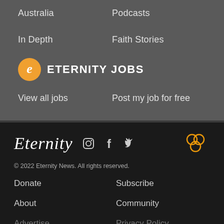Australia
Podcasts
In Depth
Faith Stories
ETERNITY JOBS
View all jobs
Post my job for free
Eternity (logo) social icons: Instagram, Facebook, Twitter
© 2022 Eternity News. All rights reserved.
Donate
Subscribe
About
Community
Advertise
Privacy Policy